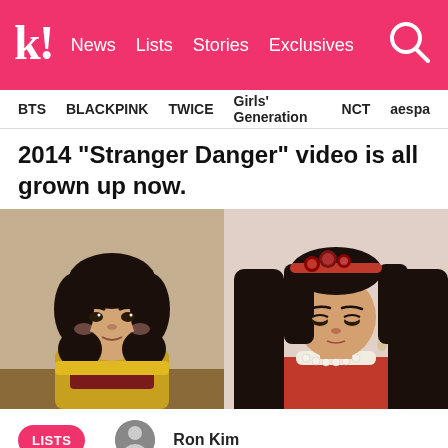k! News  Lists  Stories  Exclusives
BTS  BLACKPINK  TWICE  Girls' Generation  NCT  aespa
2014 “Stranger Danger” video is all grown up now.
[Figure (photo): Two side-by-side photos of a child: left photo shows a toddler with short dark hair wearing a yellow/brown outfit; right photo shows an older child with long dark hair wearing a red dress with pearl necklace and a floral headband.]
LISTS
Ron Kim